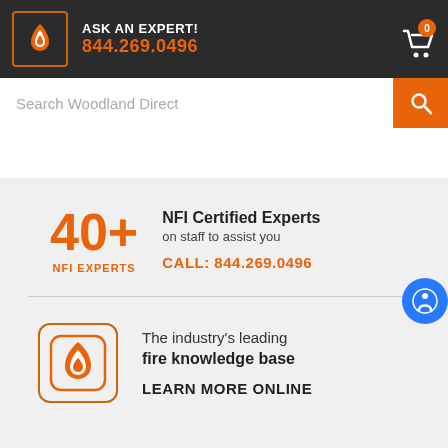ASK AN EXPERT! 844.269.0496
Search Woodland Direct
40+ NFI EXPERTS
NFI Certified Experts on staff to assist you CALL: 844.269.0496
[Figure (logo): Woodland Direct flame logo]
The industry's leading fire knowledge base LEARN MORE ONLINE